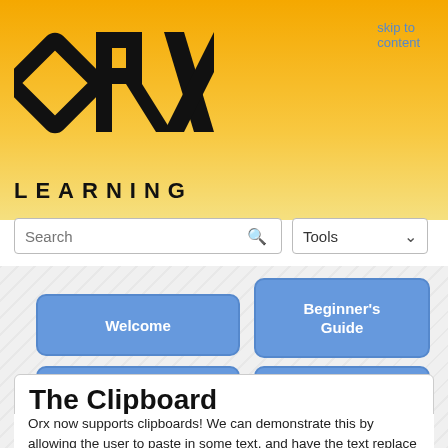[Figure (logo): ORX logo — black diamond/letter shapes forming 'orx' with geometric style]
skip to content
LEARNING
Search
Tools
Welcome
Beginner's Guide
Config
Examples
Tutorials
The Clipboard
Orx now supports clipboards! We can demonstrate this by allowing the user to paste in some text, and have the text replace a text object. First there's a little setup.